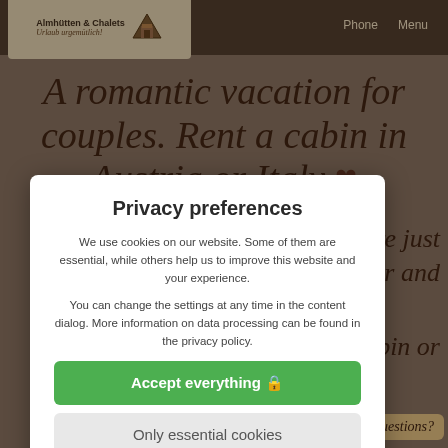[Figure (screenshot): Website background showing Almhütten & Chalets logo, navigation with Phone and Menu, and headline 'A romantic vacation for couples. Rent a cabin in Austria or Italy' with heart icon on a brown wooden background]
Privacy preferences
We use cookies on our website. Some of them are essential, while others help us to improve this website and your experience.
You can change the settings at any time in the content dialog. More information on data processing can be found in the privacy policy.
Accept everything 🔒
Only essential cookies
Individual cookie settings
Privacy policy | Legal Notice